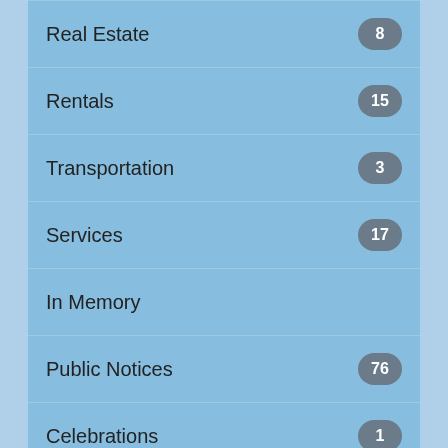Real Estate 8
Rentals 15
Transportation 3
Services 17
In Memory
Public Notices 76
Celebrations 1
Shopper
Home
Email Friend